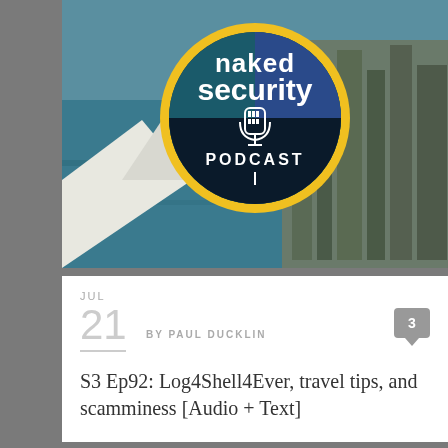[Figure (photo): Naked Security Podcast logo overlaid on an aerial coastal cityscape; circular badge with yellow/gold ring, teal background, microphone icon, text 'naked security PODCAST']
JUL
21  BY PAUL DUCKLIN
3
S3 Ep92: Log4Shell4Ever, travel tips, and scamminess [Audio + Text]
[Figure (logo): Firefox browser logo on black background — stylized blue globe wrapped in red-orange-yellow flame/fox shape]